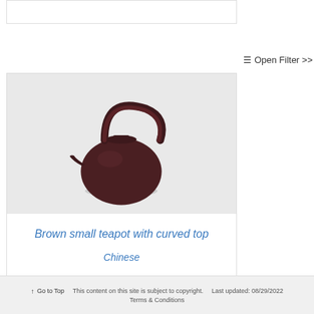[Figure (other): Empty white card/panel at top of page]
≡ Open Filter >>
[Figure (photo): Photo of a brown small teapot with curved top handle, round body, displayed on a light gray background]
Brown small teapot with curved top
Chinese
↑ Go to Top   This content on this site is subject to copyright.   Last updated: 08/29/2022   Terms & Conditions